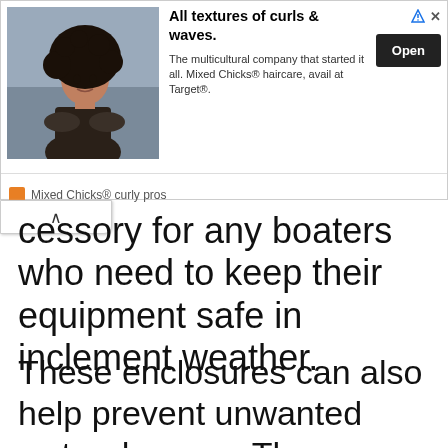[Figure (photo): Advertisement banner for Mixed Chicks curly hair products. Shows a woman with curly hair on the left, headline 'All textures of curls & waves.', body text 'The multicultural company that started it all. Mixed Chicks® haircare, avail at Target®.', an Open button, and 'Mixed Chicks® curly pros' footer.]
cessory for any boaters who need to keep their equipment safe in inclement weather.
These enclosures can also help prevent unwanted water damage. The following are some of the benefits that a pontoon boat camping enclosure can provide;